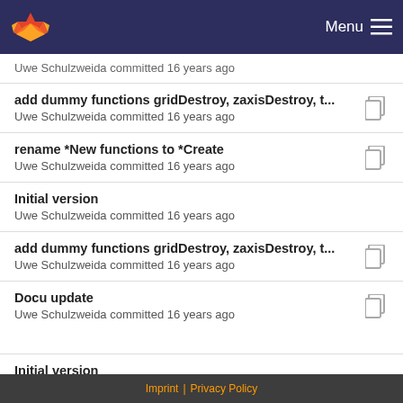Menu
Uwe Schulzweida committed 16 years ago
add dummy functions gridDestroy, zaxisDestroy, t...
Uwe Schulzweida committed 16 years ago
rename *New functions to *Create
Uwe Schulzweida committed 16 years ago
Initial version
Uwe Schulzweida committed 16 years ago
add dummy functions gridDestroy, zaxisDestroy, t...
Uwe Schulzweida committed 16 years ago
Docu update
Uwe Schulzweida committed 16 years ago
Initial version
Uwe Schulzweida committed 16 years ago
Imprint | Privacy Policy